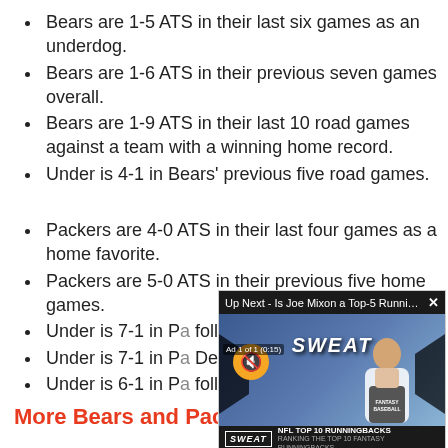Bears are 1-5 ATS in their last six games as an underdog.
Bears are 1-6 ATS in their previous seven games overall.
Bears are 1-9 ATS in their last 10 road games against a team with a winning home record.
Under is 4-1 in Bears' previous five road games.
Packers are 4-0 ATS in their last four games as a home favorite.
Packers are 5-0 ATS in their previous five home games.
Under is 7-1 in Pa... following an ATS...
Under is 7-1 in Pa... December.
Under is 6-1 in Pa... following a strai...
More Bears and Pac...
[Figure (screenshot): Video player overlay showing 'Up Next - Is Joe Mixon a Top-5 Running ...' with a muted ad playing, showing a SWEAT sports show presenter at a desk. Lower bar shows NFL TOP 10 RUNNINGBACKS / RANKING THE TOP 10 FANTASY RUNNINGBACKS.]